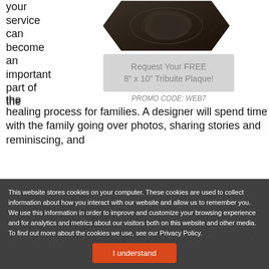your service can become an important part of the healing process for families. A designer will spend time with the family going over photos, sharing stories and reminiscing, and
[Figure (photo): Dark hexagonal tribuite plaque with engraved image]
Request Your FREE 8" x 10" Tribuite Plaque!
PROMO CODE: WEB7
This website stores cookies on your computer. These cookies are used to collect information about how you interact with our website and allow us to remember you. We use this information in order to improve and customize your browsing experience and for analytics and metrics about our visitors both on this website and other media. To find out more about the cookies we use, see our Privacy Policy.
I understand